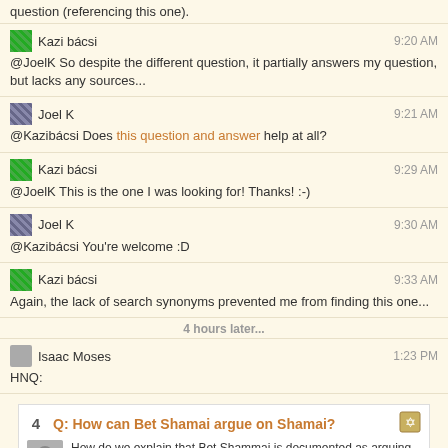question (referencing this one).
Kazi bácsi  9:20 AM
@JoelK So despite the different question, it partially answers my question, but lacks any sources...
Joel K  9:21 AM
@Kazibácsi Does this question and answer help at all?
Kazi bácsi  9:29 AM
@JoelK This is the one I was looking for! Thanks! :-)
Joel K  9:30 AM
@Kazibácsi You're welcome :D
Kazi bácsi  9:33 AM
Again, the lack of search synonyms prevented me from finding this one...
4 hours later...
Isaac Moses  1:23 PM
HNQ:
4  Q: How can Bet Shamai argue on Shamai?
How do we explain that Bet Shammai is documented as arguing on their teacher Shammai? I didn't notice any of the classic Meforshim discussing this peculiarity. There are at least 4 documented cases in Mishnayot: Eduyoth 1:7: ...בֵּית שַׁמַּאי אוֹמְרִים, רְבַע עֲצָמוֹת מִן הָעֲצָמִים, בֵּין מ...
mishna  beis-shammai  eduyot